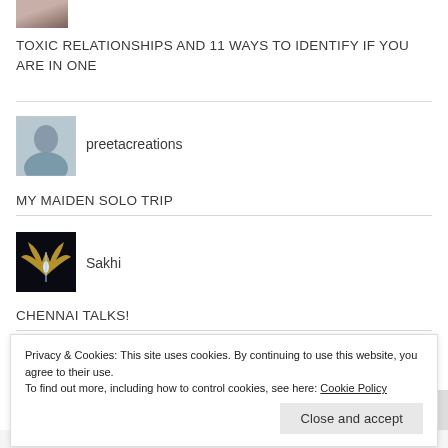[Figure (photo): Small cropped photo of a person at the top left corner]
TOXIC RELATIONSHIPS AND 11 WAYS TO IDENTIFY IF YOU ARE IN ONE
[Figure (photo): Profile photo of preetacreations - woman in blue top]
preetacreations
MY MAIDEN SOLO TRIP
[Figure (photo): Profile photo of Sakhi - angel wings on dark background]
Sakhi
CHENNAI TALKS!
Privacy & Cookies: This site uses cookies. By continuing to use this website, you agree to their use.
To find out more, including how to control cookies, see here: Cookie Policy
Close and accept